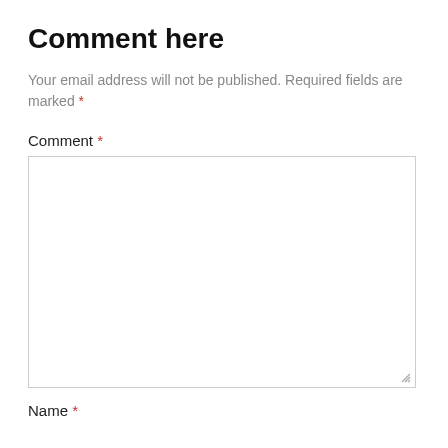Comment here
Your email address will not be published. Required fields are marked *
Comment *
[Figure (other): Empty comment textarea input box with resize handle in bottom-right corner]
Name *